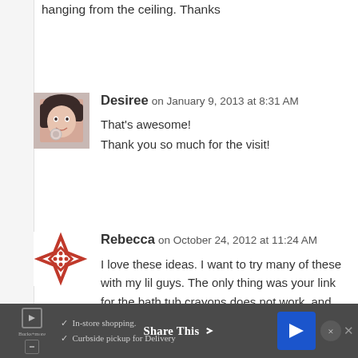hanging from the ceiling. Thanks
Desiree on January 9, 2013 at 8:31 AM
That's awesome!
Thank you so much for the visit!
[Figure (photo): Avatar photo of Desiree, a woman with dark hair]
Rebecca on October 24, 2012 at 11:24 AM
I love these ideas. I want to try many of these with my lil guys. The only thing was your link for the bath tub crayons does not work, and that is
[Figure (logo): Rebecca avatar: red geometric cross/diamond logo icon]
In-store shopping. Curbside pickup for Delivery — Share This